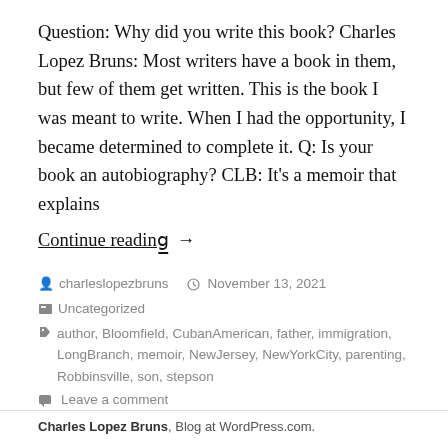Question: Why did you write this book? Charles Lopez Bruns: Most writers have a book in them, but few of them get written. This is the book I was meant to write. When I had the opportunity, I became determined to complete it. Q: Is your book an autobiography? CLB: It's a memoir that explains
Continue reading →
charleslopezbruns  November 13, 2021  Uncategorized  author, Bloomfield, CubanAmerican, father, immigration, LongBranch, memoir, NewJersey, NewYorkCity, parenting, Robbinsville, son, stepson  Leave a comment
Charles Lopez Bruns, Blog at WordPress.com.